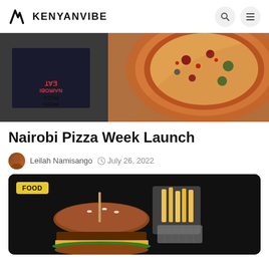KENYANVIBE
[Figure (photo): Pizza week promotional image showing a flyer with 'EAT NAIROBI PIZZA WEEK' text and pizza slices on wooden surface]
Nairobi Pizza Week Launch
Leilah Namisango  July 26, 2022
[Figure (photo): Food photo showing a burger and french fries in a basket on dark background with a FOOD tag label]